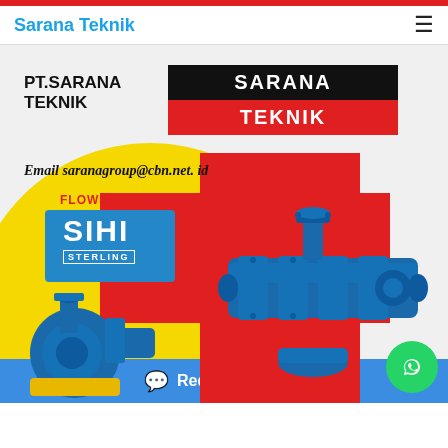Sarana Teknik
[Figure (logo): Sarana Teknik company advertisement image featuring PT.SARANA TEKNIK text, SARANA TEKNIK logo box in black and red, email saranagroup@cbn.net.id, FLOWSERVE brand, SIHI STERLING logo in blue box, and blue industrial pumps on yellow circular and red background]
Request a Quote